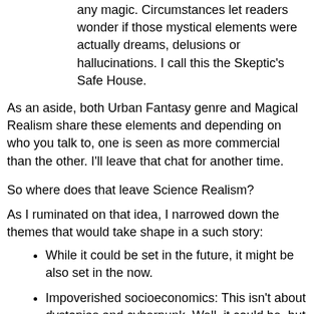any magic. Circumstances let readers wonder if those mystical elements were actually dreams, delusions or hallucinations. I call this the Skeptic's Safe House.
As an aside, both Urban Fantasy genre and Magical Realism share these elements and depending on who you talk to, one is seen as more commercial than the other. I'll leave that chat for another time.
So where does that leave Science Realism?
As I ruminated on that idea, I narrowed down the themes that would take shape in a such story:
While it could be set in the future, it might be also set in the now.
Impoverished socioeconomics: This isn't about dystopias and cyberpunk. Well, it could be, but this is the near future that happens to (or passes by), the people who can't buy zombie-killing machetes and mirror shades.